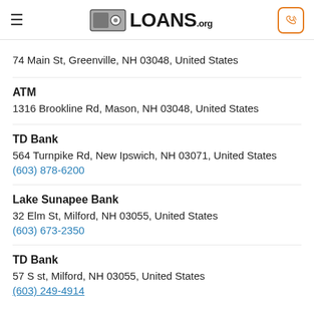[Figure (logo): Loans.org logo with hamburger menu and phone button in header]
74 Main St, Greenville, NH 03048, United States
ATM
1316 Brookline Rd, Mason, NH 03048, United States
TD Bank
564 Turnpike Rd, New Ipswich, NH 03071, United States
(603) 878-6200
Lake Sunapee Bank
32 Elm St, Milford, NH 03055, United States
(603) 673-2350
TD Bank
57 S st, Milford, NH 03055, United States
(603) 249-4914